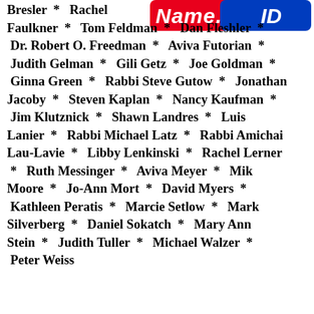[Figure (logo): Name.ID logo with red and blue stylized text]
Bresler * Rachel Faulkner * Tom Feldman * Dan Fleshler * Dr. Robert O. Freedman * Aviva Futorian * Judith Gelman * Gili Getz * Joe Goldman * Ginna Green * Rabbi Steve Gutow * Jonathan Jacoby * Steven Kaplan * Nancy Kaufman * Jim Klutznick * Shawn Landres * Luis Lanier * Rabbi Michael Latz * Rabbi Amichai Lau-Lavie * Libby Lenkinski * Rachel Lerner * Ruth Messinger * Aviva Meyer * Mik Moore * Jo-Ann Mort * David Myers * Kathleen Peratis * Marcie Setlow * Mark Silverberg * Daniel Sokatch * Mary Ann Stein * Judith Tuller * Michael Walzer * Peter Weiss